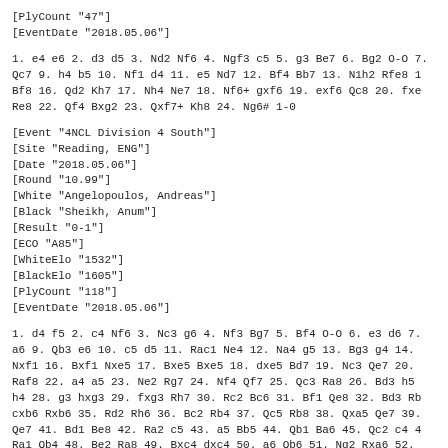[PlyCount "47"]
[EventDate "2018.05.06"]
1. e4 e6 2. d3 d5 3. Nd2 Nf6 4. Ngf3 c5 5. g3 Be7 6. Bg2 O-O 7. Qc7 9. h4 b5 10. Nf1 d4 11. e5 Nd7 12. Bf4 Bb7 13. N1h2 Rfe8 1 Bf8 16. Qd2 Kh7 17. Nh4 Ne7 18. Nf6+ gxf6 19. exf6 Qc8 20. fxe Re8 22. Qf4 Bxg2 23. Qxf7+ Kh8 24. Ng6# 1-0
[Event "4NCL Division 4 South"]
[Site "Reading, ENG"]
[Date "2018.05.06"]
[Round "10.99"]
[White "Angelopoulos, Andreas"]
[Black "Sheikh, Anum"]
[Result "0-1"]
[ECO "A85"]
[WhiteElo "1532"]
[BlackElo "1605"]
[PlyCount "118"]
[EventDate "2018.05.06"]
1. d4 f5 2. c4 Nf6 3. Nc3 g6 4. Nf3 Bg7 5. Bf4 O-O 6. e3 d6 7. a6 9. Qb3 e6 10. c5 d5 11. Rac1 Ne4 12. Na4 g5 13. Bg3 g4 14. Nxf1 16. Bxf1 Nxe5 17. Bxe5 Bxe5 18. dxe5 Bd7 19. Nc3 Qe7 20. Raf8 22. a4 a5 23. Ne2 Rg7 24. Nf4 Qf7 25. Qc3 Ra8 26. Bd3 h5 h4 28. g3 hxg3 29. fxg3 Rh7 30. Rc2 Bc6 31. Bf1 Qe8 32. Bd3 Rb cxb6 Rxb6 35. Rd2 Rh6 36. Bc2 Rb4 37. Qc5 Rb8 38. Qxa5 Qe7 39. Qe7 41. Bd1 Be8 42. Ra2 c5 43. a5 Bb5 44. Qb1 Ba6 45. Qc2 c4 4 Ra1 Qb4 48. Be2 Ra8 49. Bxc4 dxc4 50. a6 Qb6 51. Ng2 Rxa6 52. Ra5 54. Rc1 Rc5 55. Qb4 Qxe5 56. Rxc4 Qa1+ 57. Kf2 Qa2+ 58. Kg Rc8 0-1